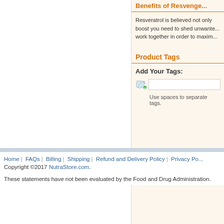Benefits of Resvenge...
Resveratrol is believed not only...boost you need to shed unwante...work together in order to maxim...
Product Tags
Add Your Tags:
Use spaces to separate tags.
Home | FAQs | Billing | Shipping | Refund and Delivery Policy | Privacy Po...
Copyright ©2017 NutraStore.com.
These statements have not been evaluated by the Food and Drug Administration.